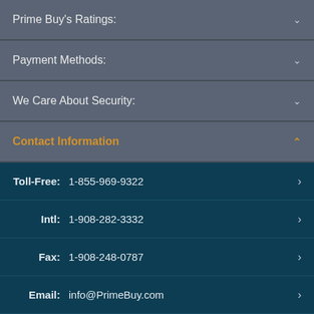Prime Buy's Ratings:
Payment Methods:
We Care About Security:
Contact Information
Toll-Free: 1-855-969-9322
Intl: 1-908-282-3332
Fax: 1-908-248-0787
Email: info@PrimeBuy.com
Address: 8998 State Route 18, # 206A, Old Bridge, NJ 08857
Hours of Operation: